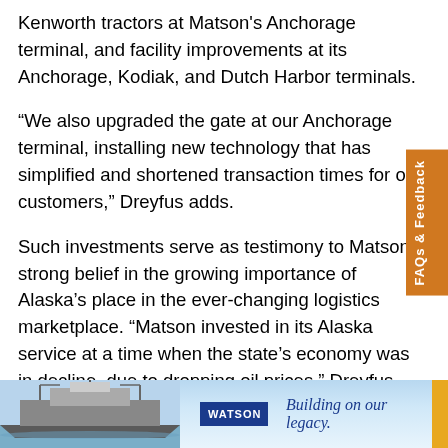Kenworth tractors at Matson's Anchorage terminal, and facility improvements at its Anchorage, Kodiak, and Dutch Harbor terminals.
“We also upgraded the gate at our Anchorage terminal, installing new technology that has simplified and shortened transaction times for our customers,” Dreyfus adds.
Such investments serve as testimony to Matson’s strong belief in the growing importance of Alaska’s place in the ever-changing logistics marketplace. “Matson invested in its Alaska service at a time when the state’s economy was in decline, due to dropping oil prices,” Dreyfus says. “We did so because we have confidence there will be stronger years ahead. Alaska is strategically important to our national defense and
[Figure (illustration): Bottom banner showing a ship on blue water on the left, Watson logo in blue square in center, and italic tagline 'Building on our legacy.' on right with orange stripe on far right]